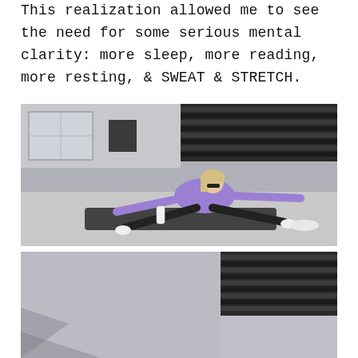This realization allowed me to see the need for some serious mental clarity: more sleep, more reading, more resting, & SWEAT & STRETCH.
[Figure (photo): Blonde woman in a purple long-sleeve top and black leggings doing a stretching pose on a dark yoga mat outdoors, with a water bottle beside her. Background shows a building with dark horizontal louvers/shutters.]
[Figure (photo): Partial view of a second outdoor photo showing the same location — building facade with dark horizontal louvers visible at top right, and out-of-focus foreground.]